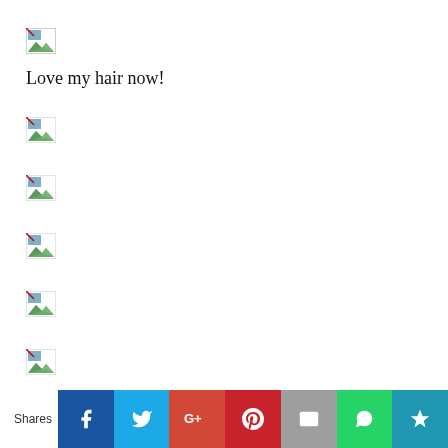[Figure (photo): Broken image placeholder 1]
Love my hair now!
[Figure (photo): Broken image placeholder 2]
[Figure (photo): Broken image placeholder 3]
[Figure (photo): Broken image placeholder 4]
[Figure (photo): Broken image placeholder 5]
[Figure (photo): Broken image placeholder 6]
Shares | Facebook | Twitter | Google+ | Pinterest | Email | WhatsApp | Crown